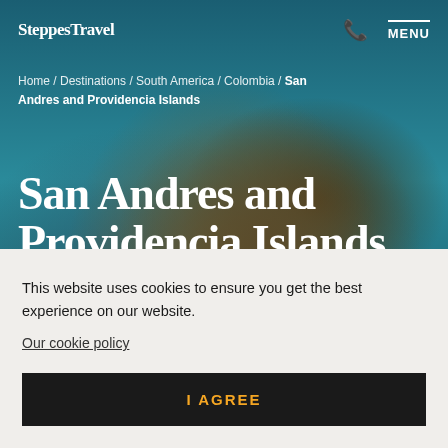SteppesTravel
Home / Destinations / South America / Colombia / San Andres and Providencia Islands
San Andres and Providencia Islands.
[Figure (photo): Underwater photo showing a sea turtle shell close-up with teal ocean water background]
This website uses cookies to ensure you get the best experience on our website.
Our cookie policy
I AGREE